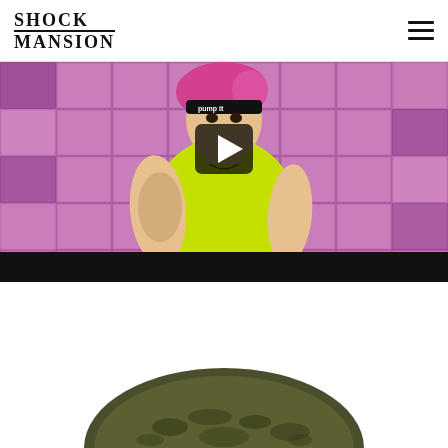[Figure (logo): Shock Mansion logo — two-line bold serif uppercase text: SHOCK on top, MANSION below, with a horizontal rule between the lines]
[Figure (screenshot): Video thumbnail of a fitness instructor wearing a neon yellow tank top, black headband reading 'pump it', curly pink-dyed hair, microphone, tattooed arm, against a pink/purple grid background. A dark rounded-rectangle play button overlay is centered on the image.]
[Figure (photo): Bottom portion of a product photo showing what appears to be camouflage-patterned shorts or pants on a white background, partially cropped.]